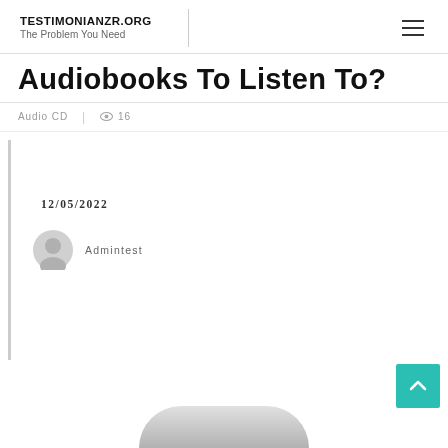TESTIMONIANZR.ORG
The Problem You Need
Audiobooks To Listen To?
Audio CD  |  16
12/05/2022
Admintest
[Figure (illustration): Partial image of a dark curved object visible at the bottom of the page]